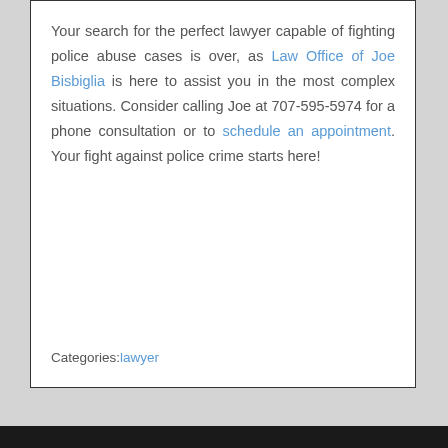Your search for the perfect lawyer capable of fighting police abuse cases is over, as Law Office of Joe Bisbiglia is here to assist you in the most complex situations. Consider calling Joe at 707-595-5974 for a phone consultation or to schedule an appointment. Your fight against police crime starts here!
Categories: lawyer